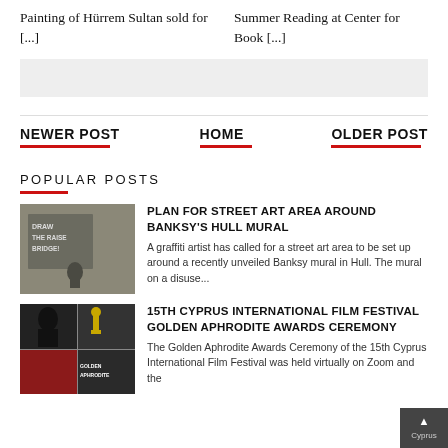Painting of Hürrem Sultan sold for [...]
Summer Reading at Center for Book [...]
[Figure (other): Gray advertisement/banner placeholder]
NEWER POST
HOME
OLDER POST
POPULAR POSTS
[Figure (photo): Photo showing street art mural with text 'DRAW THE RAISE BRIDGE!' and a figure sitting]
PLAN FOR STREET ART AREA AROUND BANKSY'S HULL MURAL
A graffiti artist has called for a street art area to be set up around a recently unveiled Banksy mural in Hull. The mural on a disuse...
[Figure (photo): Collage of film festival images including Golden Aphrodite awards ceremony]
15TH CYPRUS INTERNATIONAL FILM FESTIVAL GOLDEN APHRODITE AWARDS CEREMONY
The Golden Aphrodite Awards Ceremony of the 15th Cyprus International Film Festival was held virtually on Zoom and the